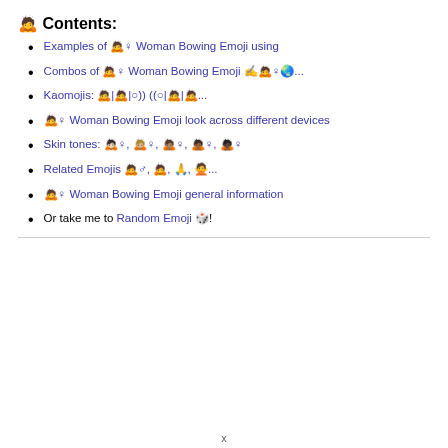🙇 Contents:
Examples of 🙇♀ Woman Bowing Emoji using
Combos of 🙇♀ Woman Bowing Emoji ✍🙇♀🌏...
Kaomojis: 🙇|🙇|○)) ((○|🙇|🙇...
🙇♀ Woman Bowing Emoji look across different devices
Skin tones: 🙇🏻♀, 🙇🏼♀, 🙇🏽♀, 🙇🏾♀, 🙇🏿♀
Related Emojis 🙇♂, 🙇, 🙏, 🙅...
🙇♀ Woman Bowing Emoji general information
Or take me to Random Emoji 🎲!